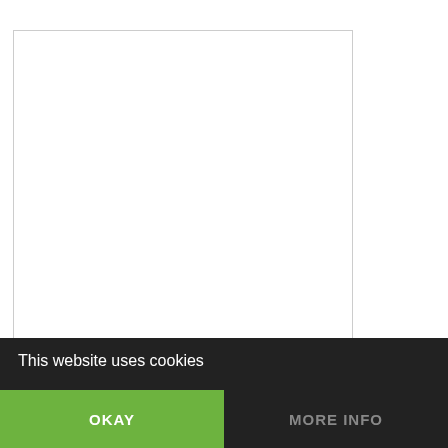[Figure (photo): Placeholder image area with a light border on a white background, representing a photo related to fireball and thermal pulse from a nuclear explosion.]
The Fireball and Thermal Pulse
Although the formation of a mushroom cloud has become the most recognizable feature of a nuclear explosion (see previous section), it is actually not the generation of smoke … [more]
This website uses cookies
OKAY
MORE INFO